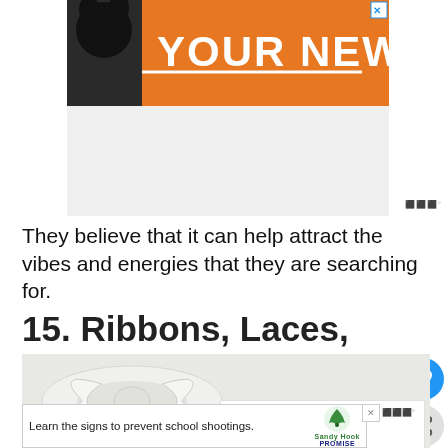[Figure (screenshot): Orange advertisement banner with black dog silhouette and text 'YOUR NEW BFF']
They believe that it can help attract the vibes and energies that they are searching for.
15. Ribbons, Laces, and Frills
[Figure (photo): Close-up photo of a white satin ribbon bow on a white background]
[Figure (screenshot): Bottom advertisement banner: 'Learn the signs to prevent school shootings.' with Sandy Hook Promise logo]